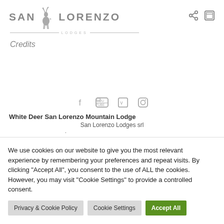[Figure (logo): San Lorenzo Lodges logo with deer silhouette and text SAN LORENZO LODGES]
Credits
[Figure (infographic): Social media icons: Facebook, YouTube, Vimeo, Instagram]
White Deer San Lorenzo Mountain Lodge
San Lorenzo Lodges srl
.
We use cookies on our website to give you the most relevant experience by remembering your preferences and repeat visits. By clicking "Accept All", you consent to the use of ALL the cookies. However, you may visit "Cookie Settings" to provide a controlled consent.
Privacy & Cookie Policy
Cookie Settings
Accept All